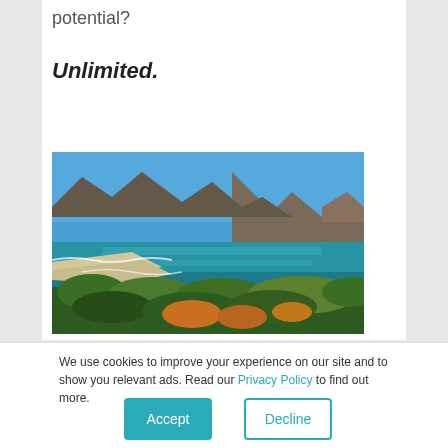potential?
Unlimited.
[Figure (photo): Coastal landscape photograph showing a rocky mountain range along a blue ocean shoreline with white waves, lush green vegetation in the foreground, and a bright blue sky.]
We use cookies to improve your experience on our site and to show you relevant ads. Read our Privacy Policy to find out more.
Accept
Decline